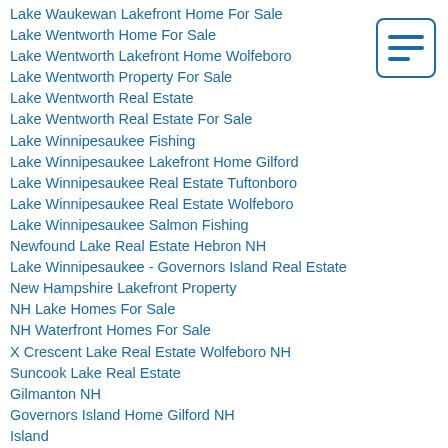Lake Waukewan Lakefront Home For Sale
Lake Wentworth Home For Sale
Lake Wentworth Lakefront Home Wolfeboro
Lake Wentworth Property For Sale
Lake Wentworth Real Estate
Lake Wentworth Real Estate For Sale
Lake Winnipesaukee Fishing
Lake Winnipesaukee Lakefront Home Gilford
Lake Winnipesaukee Real Estate Tuftonboro
Lake Winnipesaukee Real Estate Wolfeboro
Lake Winnipesaukee Salmon Fishing
Newfound Lake Real Estate Hebron NH
Lake Winnipesaukee - Governors Island Real Estate
New Hampshire Lakefront Property
NH Lake Homes For Sale
NH Waterfront Homes For Sale
X Crescent Lake Real Estate Wolfeboro NH
Suncook Lake Real Estate
Gilmanton NH
Governors Island Home Gilford NH
Island
Island Pond Real Estate Washington NH
Little Lake Sunapee Real Estate For Sale